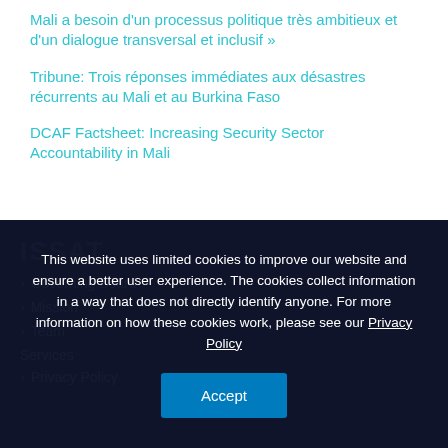Mali a besoin d'un processus politique très ambitieux et d'un dialogue transversal et inclusif »
Tribune: Trois réponses immédiates aux désastres récurrents au Mali et au Burkina Faso
DCAF Factsheet: Increasing Security Sector Accountability in Mali
ISSAT
Governing Board
Mission
Team
Services
Privacy Policy
This website uses limited cookies to improve our website and ensure a better user experience. The cookies collect information in a way that does not directly identify anyone. For more information on how these cookies work, please see our Privacy Policy
Accept